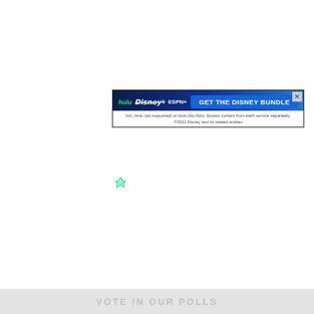[Figure (screenshot): Disney Bundle advertisement banner showing Hulu, Disney+, and ESPN+ logos with 'GET THE DISNEY BUNDLE' call-to-action button. Fine print: 'Incl. Hulu (ad-supported) or Hulu (No Ads). Access content from each service separately. ©2021 Disney and its related entities']
[Figure (logo): Small green filter/torch icon]
[Figure (screenshot): Video popup overlay showing 'Up Next - Why are pro wrestlers singing...' with a 30-second ad (Ad 1 of 1 (0:30)) from PWTORCH channel, showing a man in a black cap against a wrestling ring background. Mute button visible, close button in top right.]
[Figure (logo): Larger green filter/torch icon on left side]
[Figure (screenshot): Second Disney Bundle advertisement banner showing Hulu, Disney+, and ESPN+ logos with 'GET THE DISNEY BUNDLE' call-to-action button. Fine print: 'Incl. Hulu (ad-supported) or Hulu (No Ads). Access content from each service separately. ©2021 Disney and its related entities']
VOTE IN OUR POLLS